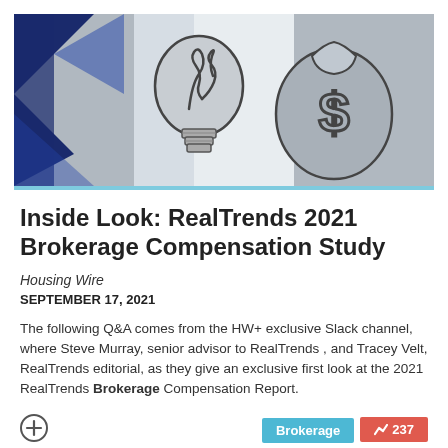[Figure (illustration): Header illustration showing a light bulb and a money bag with a dollar sign on a gray background with dark blue geometric shapes on the left.]
Inside Look: RealTrends 2021 Brokerage Compensation Study
Housing Wire
SEPTEMBER 17, 2021
The following Q&A comes from the HW+ exclusive Slack channel, where Steve Murray, senior advisor to RealTrends , and Tracey Velt, RealTrends editorial, as they give an exclusive first look at the 2021 RealTrends Brokerage Compensation Report.
Brokerage
237